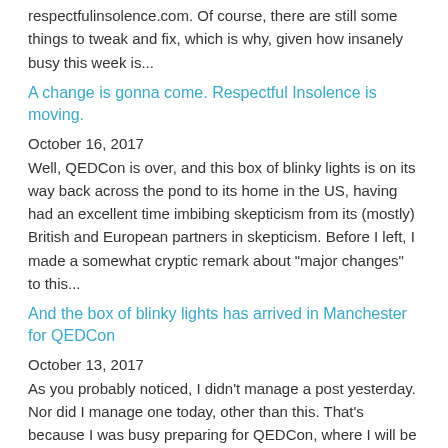respectfulinsolence.com. Of course, there are still some things to tweak and fix, which is why, given how insanely busy this week is...
A change is gonna come. Respectful Insolence is moving.
October 16, 2017
Well, QEDCon is over, and this box of blinky lights is on its way back across the pond to its home in the US, having had an excellent time imbibing skepticism from its (mostly) British and European partners in skepticism. Before I left, I made a somewhat cryptic remark about "major changes" to this...
And the box of blinky lights has arrived in Manchester for QEDCon
October 13, 2017
As you probably noticed, I didn't manage a post yesterday. Nor did I manage one today, other than this. That's because I was busy preparing for QEDCon, where I will be on a panel and giving a talk, and, of course, putting together my talk. As I write this, I'm horrendously jet lagged; so I probably...
On the "integration" of quackery into the medical school curriculum
October 11, 2017